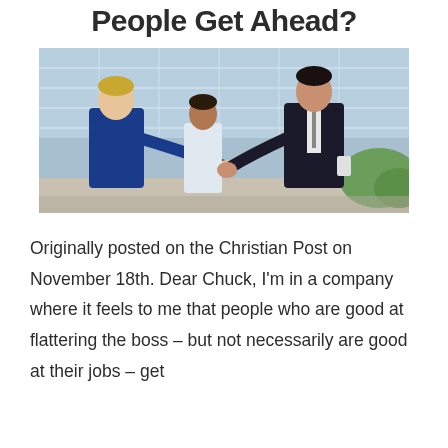People Get Ahead?
[Figure (photo): Two men in business attire shaking hands outdoors in front of a glass building, with a woman smiling in the background.]
Originally posted on the Christian Post on November 18th. Dear Chuck, I'm in a company where it feels to me that people who are good at flattering the boss – but not necessarily are good at their jobs – get